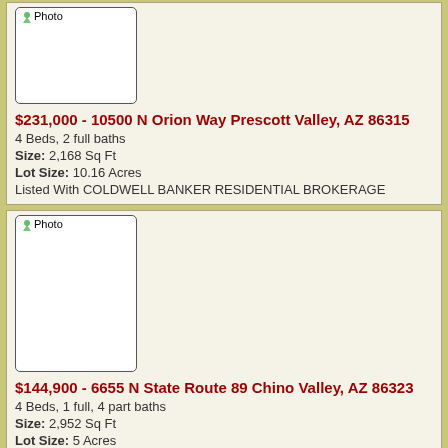[Figure (photo): Property photo placeholder for 10500 N Orion Way Prescott Valley]
$231,000 - 10500 N Orion Way Prescott Valley, AZ 86315
4 Beds, 2 full baths
Size: 2,168 Sq Ft
Lot Size: 10.16 Acres
Listed With COLDWELL BANKER RESIDENTIAL BROKERAGE
[Figure (photo): Property photo placeholder for 6655 N State Route 89 Chino Valley]
$144,900 - 6655 N State Route 89 Chino Valley, AZ 86323
4 Beds, 1 full, 4 part baths
Size: 2,952 Sq Ft
Lot Size: 5 Acres
Listed With THE JANUS REAL ESTATE COMPANY
[Figure (photo): Property photo placeholder for 1530 Oregon Ave Prescott]
$66,900 - 1530 Oregon Ave (aka 1524), Unit 0 Prescott, AZ 86301
1 Beds, 1 full bath